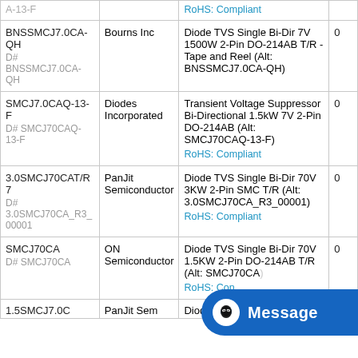| Part | Manufacturer | Description | Qty |
| --- | --- | --- | --- |
| BNSSMCJ7.0CA-QH
D# BNSSMCJ7.0CA-QH | Bourns Inc | Diode TVS Single Bi-Dir 7V 1500W 2-Pin DO-214AB T/R - Tape and Reel (Alt: BNSSMCJ7.0CA-QH) | 0 |
| SMCJ7.0CAQ-13-F
D# SMCJ70CAQ-13-F | Diodes Incorporated | Transient Voltage Suppressor Bi-Directional 1.5kW 7V 2-Pin DO-214AB (Alt: SMCJ70CAQ-13-F)
RoHS: Compliant | 0 |
| 3.0SMCJ70CAT/R7
D# 3.0SMCJ70CA_R3_00001 | PanJit Semiconductor | Diode TVS Single Bi-Dir 70V 3KW 2-Pin SMC T/R (Alt: 3.0SMCJ70CA_R3_00001)
RoHS: Compliant | 0 |
| SMCJ70CA
D# SMCJ70CA | ON Semiconductor | Diode TVS Single Bi-Dir 70V 1.5KW 2-Pin DO-214AB T/R (Alt: SMCJ70CA)
RoHS: Compliant | 0 |
| 1.5SMCJ7.0C | PanJit Sem | Diode TVS Single Bi-Dir 7V | 0 |